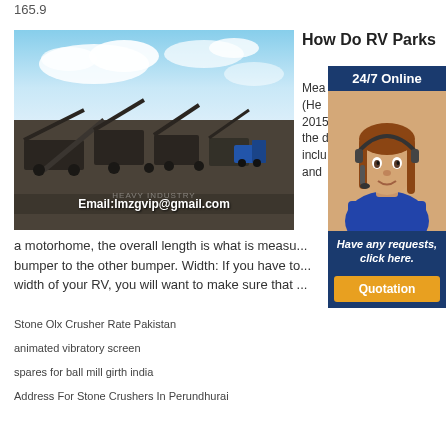165.9
[Figure (photo): Industrial stone crusher machinery at an outdoor site with blue sky background. Overlay text: Email:lmzgvip@gmail.com]
How Do RV Parks
Mea... (He... 2015... the d... inclu... and ...
[Figure (photo): Advertisement overlay: 24/7 Online banner with a woman wearing a headset, text 'Have any requests, click here.' and a Quotation button]
a motorhome, the overall length is what is measu... bumper to the other bumper. Width: If you have to... width of your RV, you will want to make sure that ...
Stone Olx Crusher Rate Pakistan
animated vibratory screen
spares for ball mill girth india
Address For Stone Crushers In Perundhurai